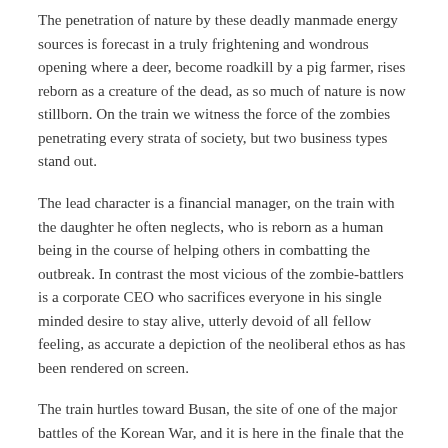The penetration of nature by these deadly manmade energy sources is forecast in a truly frightening and wondrous opening where a deer, become roadkill by a pig farmer, rises reborn as a creature of the dead, as so much of nature is now stillborn. On the train we witness the force of the zombies penetrating every strata of society, but two business types stand out.
The lead character is a financial manager, on the train with the daughter he often neglects, who is reborn as a human being in the course of helping others in combatting the outbreak. In contrast the most vicious of the zombie-battlers is a corporate CEO who sacrifices everyone in his single minded desire to stay alive, utterly devoid of all fellow feeling, as accurate a depiction of the neoliberal ethos as has been rendered on screen.
The train hurtles toward Busan, the site of one of the major battles of the Korean War, and it is here in the finale that the human survivors of the zombie attack are met with a line of soldiers recalling the primal trauma on the island of a war inflicted on it by the great powers.